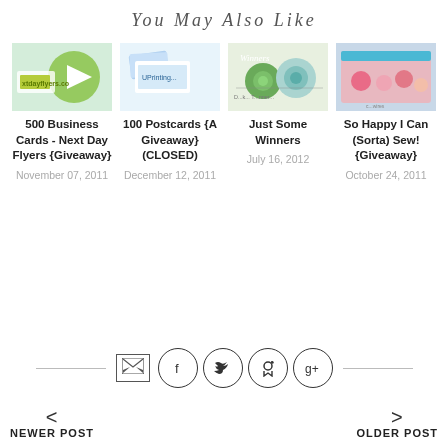You May Also Like
[Figure (photo): Thumbnail for 500 Business Cards - Next Day Flyers giveaway post]
500 Business Cards - Next Day Flyers {Giveaway}
November 07, 2011
[Figure (photo): Thumbnail for 100 Postcards giveaway post showing UPrinting cards]
100 Postcards {A Giveaway} (CLOSED)
December 12, 2011
[Figure (photo): Thumbnail for Just Some Winners post showing green and blue flower decorations]
Just Some Winners
July 16, 2012
[Figure (photo): Thumbnail for So Happy I Can (Sorta) Sew giveaway post showing floral fabric bag]
So Happy I Can (Sorta) Sew! {Giveaway}
October 24, 2011
< NEWER POST
OLDER POST >